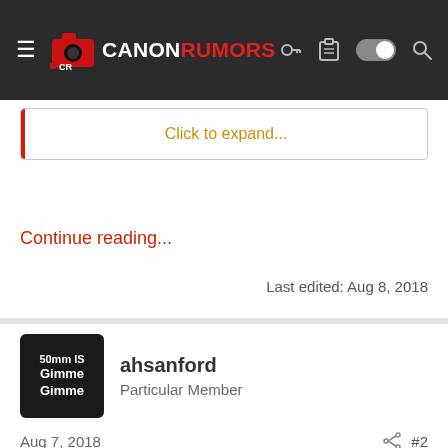CANON RUMORS
Click to expand...
Continue reading...
Last edited: Aug 8, 2018
ahsanford
Particular Member
Aug 7, 2018
#2
Web page here:
https://sol.lensbaby.com/
Fascinated by these 'bokeh blades'. It appears to be a permanently affixed bokeh stencil you can hinge in/out of the FOV and rotate around in the FOV as desired: